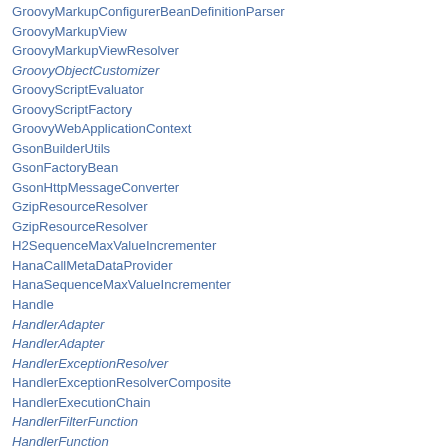GroovyMarkupConfigurerBeanDefinitionParser
GroovyMarkupView
GroovyMarkupViewResolver
GroovyObjectCustomizer
GroovyScriptEvaluator
GroovyScriptFactory
GroovyWebApplicationContext
GsonBuilderUtils
GsonFactoryBean
GsonHttpMessageConverter
GzipResourceResolver
GzipResourceResolver
H2SequenceMaxValueIncrementer
HanaCallMetaDataProvider
HanaSequenceMaxValueIncrementer
Handle
HandlerAdapter
HandlerAdapter
HandlerExceptionResolver
HandlerExceptionResolverComposite
HandlerExecutionChain
HandlerFilterFunction
HandlerFunction
HandlerFunctionAdapter
HandlerInterceptor
HandlerInterceptorAdapter
HandlerMapping
HandlerMapping